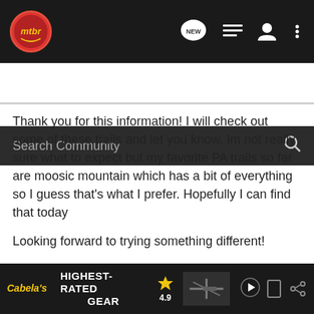[Figure (logo): MTBR website navigation bar with logo, NEW chat icon, list icon, user icon, and more options icon]
Search Community
Thank you for this information! I will check out some of these trails and let you know. Im not really sure what to expect but my favorite PA trails so far are moosic mountain which has a bit of everything so I guess that's what I prefer. Hopefully I can find that today

Looking forward to trying something different!

Thanks again

Russ
[Figure (screenshot): Cabela's advertisement banner showing 'HIGHEST-RATED GEAR' with a 4.9 star rating and crossbow image]